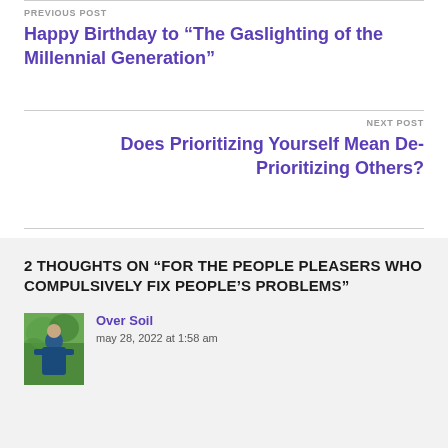PREVIOUS POST
Happy Birthday to “The Gaslighting of the Millennial Generation”
NEXT POST
Does Prioritizing Yourself Mean De-Prioritizing Others?
2 THOUGHTS ON “FOR THE PEOPLE PLEASERS WHO COMPULSIVELY FIX PEOPLE’S PROBLEMS”
Over Soil
may 28, 2022 at 1:58 am